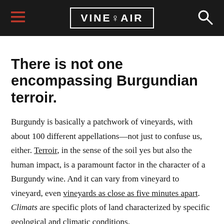VINEPAIR
There is not one encompassing Burgundian terroir.
Burgundy is basically a patchwork of vineyards, with about 100 different appellations—not just to confuse us, either. Terroir, in the sense of the soil yes but also the human impact, is a paramount factor in the character of a Burgundy wine. And it can vary from vineyard to vineyard, even vineyards as close as five minutes apart. Climats are specific plots of land characterized by specific geological and climatic conditions.